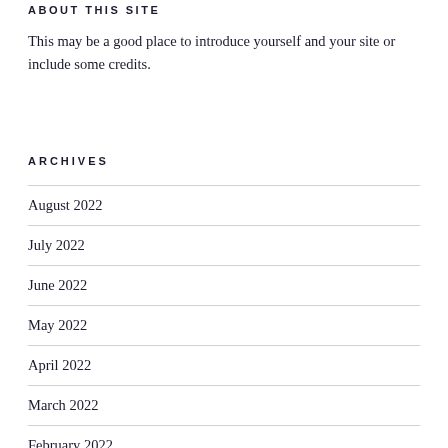ABOUT THIS SITE
This may be a good place to introduce yourself and your site or include some credits.
ARCHIVES
August 2022
July 2022
June 2022
May 2022
April 2022
March 2022
February 2022